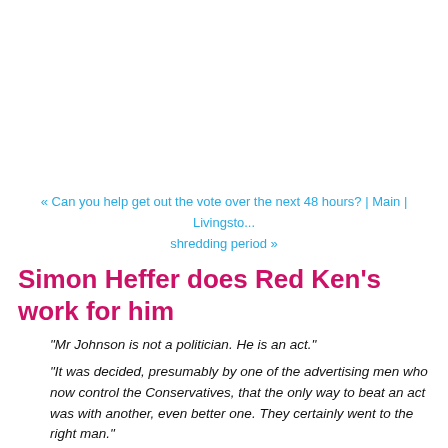« Can you help get out the vote over the next 48 hours? | Main | Livingsto... shredding period »
Simon Heffer does Red Ken's work for him
"Mr Johnson is not a politician. He is an act."
"It was decided, presumably by one of the advertising men who now control the Conservatives, that the only way to beat an act was with another, even better one. They certainly went to the right man."
"There were stooges when Mr Johnson was en route to be president of the Oxford Union. He has had stooges all through journalism, who did significant parts of his various jobs for him,